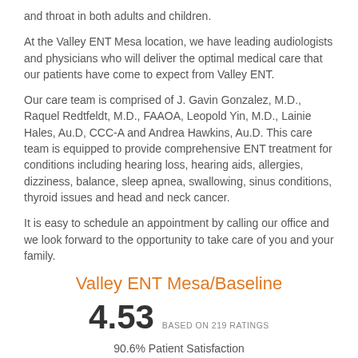and throat in both adults and children.
At the Valley ENT Mesa location, we have leading audiologists and physicians who will deliver the optimal medical care that our patients have come to expect from Valley ENT.
Our care team is comprised of J. Gavin Gonzalez, M.D., Raquel Redtfeldt, M.D., FAAOA, Leopold Yin, M.D., Lainie Hales, Au.D, CCC-A and Andrea Hawkins, Au.D. This care team is equipped to provide comprehensive ENT treatment for conditions including hearing loss, hearing aids, allergies, dizziness, balance, sleep apnea, swallowing, sinus conditions, thyroid issues and head and neck cancer.
It is easy to schedule an appointment by calling our office and we look forward to the opportunity to take care of you and your family.
Valley ENT Mesa/Baseline
4.53 BASED ON 219 RATINGS
90.6% Patient Satisfaction